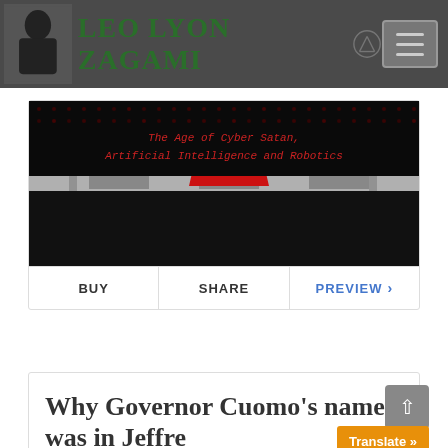LEO LYON ZAGAMI
[Figure (illustration): Book cover for 'The Age of Cyber Satan, Artificial Intelligence and Robotics' showing a figure in red robes on a dark checkerboard floor with red matrix-style text overlay]
BUY | SHARE | PREVIEW
Why Governor Cuomo's name was in Jeffre...